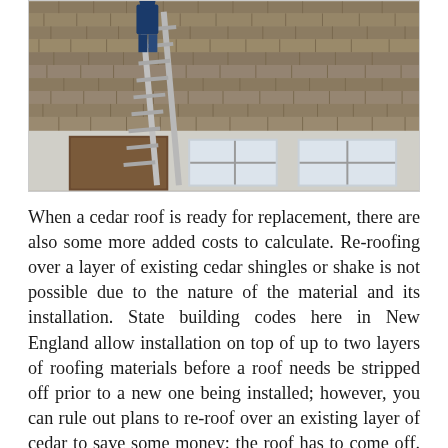[Figure (photo): A person standing on a ladder leaning against a cedar shake roof of a house. The roof has weathered gray-brown wood shingles. The house has windows visible below the roofline.]
When a cedar roof is ready for replacement, there are also some more added costs to calculate. Re-roofing over a layer of existing cedar shingles or shake is not possible due to the nature of the material and its installation. State building codes here in New England allow installation on top of up to two layers of roofing materials before a roof needs be stripped off prior to a new one being installed; however, you can rule out plans to re-roof over an existing layer of cedar to save some money: the roof has to come off. Cedar is one of the more difficult roofing materials to remove due to its brittle nature, hence there is more time